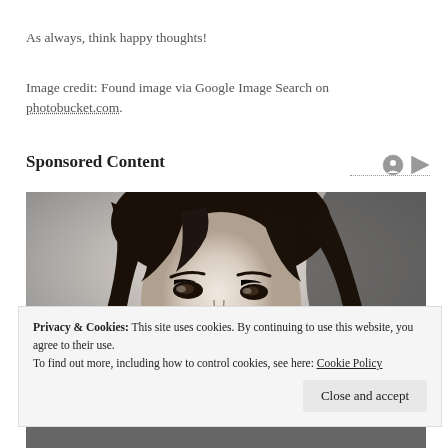As always, think happy thoughts!
Image credit: Found image via Google Image Search on photobucket.com.
Sponsored Content
[Figure (photo): Black and white close-up portrait photograph of a woman with dark hair and expressive eyes looking at the camera]
Privacy & Cookies: This site uses cookies. By continuing to use this website, you agree to their use.
To find out more, including how to control cookies, see here: Cookie Policy
Close and accept